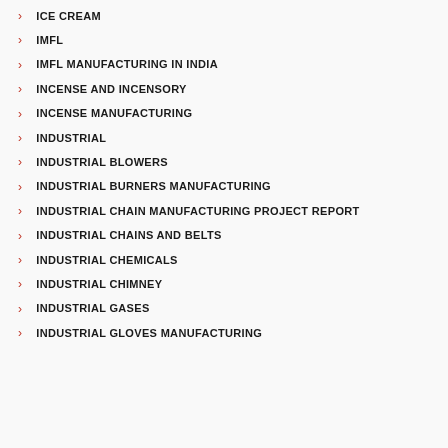ICE CREAM
IMFL
IMFL MANUFACTURING IN INDIA
INCENSE AND INCENSORY
INCENSE MANUFACTURING
INDUSTRIAL
INDUSTRIAL BLOWERS
INDUSTRIAL BURNERS MANUFACTURING
INDUSTRIAL CHAIN MANUFACTURING PROJECT REPORT
INDUSTRIAL CHAINS AND BELTS
INDUSTRIAL CHEMICALS
INDUSTRIAL CHIMNEY
INDUSTRIAL GASES
INDUSTRIAL GLOVES MANUFACTURING